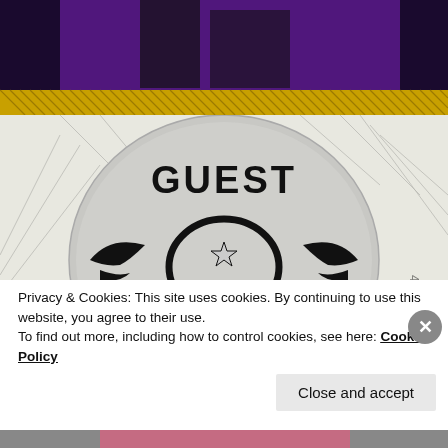[Figure (photo): Top portion of a music poster with purple and black colors, and a gold/yellow hatched border at the bottom]
[Figure (photo): Aerosmith GUEST pass backstage badge — circular silver/grey satin badge with 'GUEST' text at top, Aerosmith winged logo with star and cursive Aerosmith lettering in black. Background is black and white comic-style sketch art. Partial text on right side reads something like '4P.M.']
Privacy & Cookies: This site uses cookies. By continuing to use this website, you agree to their use.
To find out more, including how to control cookies, see here: Cookie Policy
Close and accept
[Figure (photo): Bottom strip of another image, partially visible]